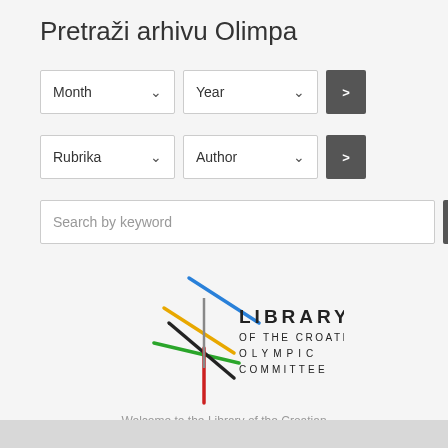Pretraži arhivu Olimpa
[Figure (screenshot): Search form with dropdowns for Month, Year, Rubrika, Author, and a keyword search field, each with a go button (>)]
[Figure (logo): Library of the Croatian Olympic Committee logo with colored crossing lines]
Welcome to the Library of the Croatian Olympic Committee!
Online catalog.